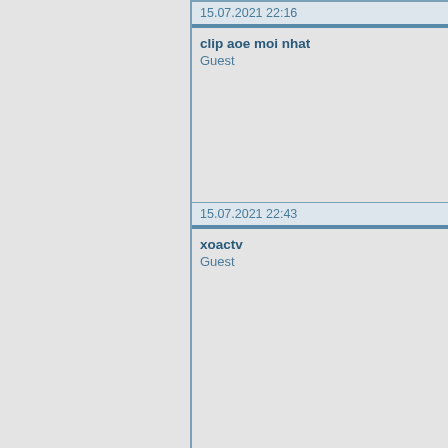15.07.2021 22:16
clip aoe moi nhat
Guest
15.07.2021 22:43
xoactv
Guest
16.07.2021 00:17
u22 viá»‡t nam vs u22 philippines
Guest